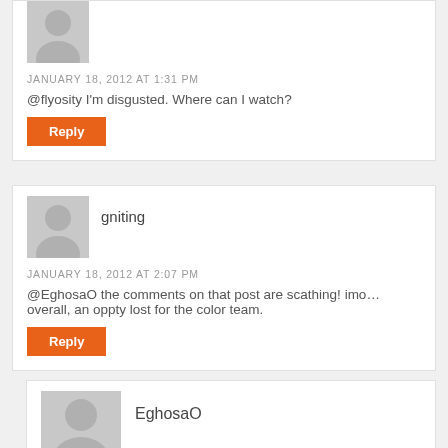[Figure (illustration): Gray placeholder avatar icon]
JANUARY 18, 2012 AT 1:31 PM
@flyosity I'm disgusted. Where can I watch?
Reply
gniting
[Figure (illustration): Gray placeholder avatar icon]
JANUARY 18, 2012 AT 2:07 PM
@EghosaO the comments on that post are scathing! imo…overall, an oppty lost for the color team.
Reply
EghosaO
[Figure (illustration): Gray placeholder avatar icon, larger size]